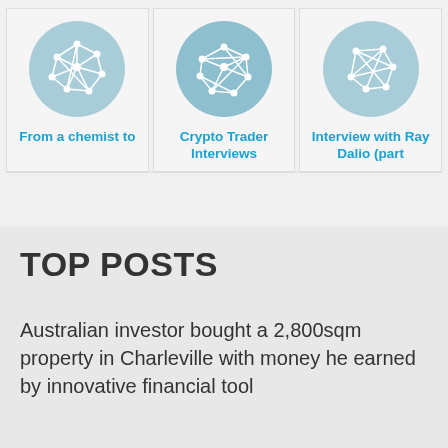[Figure (illustration): Three cards each with a light blue circle containing a white network/graph icon. Card 1 has title 'From a chemist to', Card 2 has title 'Crypto Trader Interviews', Card 3 has title 'Interview with Ray Dalio (part']
From a chemist to
Crypto Trader Interviews
Interview with Ray Dalio (part
TOP POSTS
Australian investor bought a 2,800sqm property in Charleville with money he earned by innovative financial tool